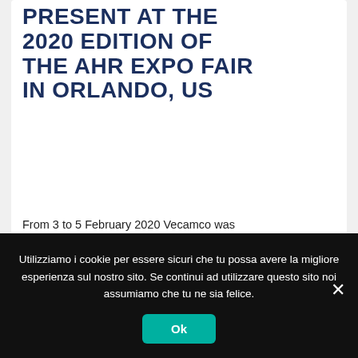PRESENT AT THE 2020 EDITION OF THE AHR EXPO FAIR IN ORLANDO, US
From 3 to 5 February 2020 Vecamco was present with a complete exhibition at the...
READ MORE
Utilizziamo i cookie per essere sicuri che tu possa avere la migliore esperienza sul nostro sito. Se continui ad utilizzare questo sito noi assumiamo che tu ne sia felice.
Ok